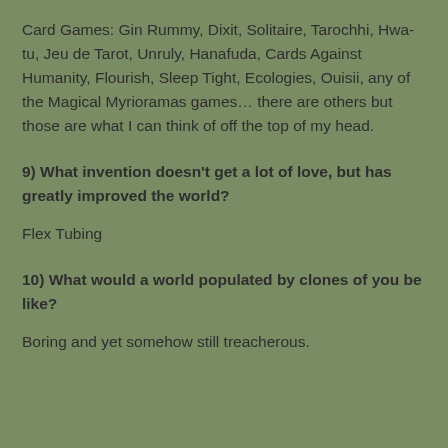Card Games: Gin Rummy, Dixit, Solitaire, Tarochhi, Hwa-tu, Jeu de Tarot, Unruly, Hanafuda, Cards Against Humanity, Flourish, Sleep Tight, Ecologies, Ouisii, any of the Magical Myrioramas games… there are others but those are what I can think of off the top of my head.
9) What invention doesn't get a lot of love, but has greatly improved the world?
Flex Tubing
10) What would a world populated by clones of you be like?
Boring and yet somehow still treacherous.